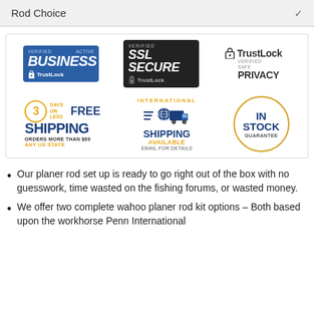Rod Choice
[Figure (infographic): Six trust/shipping badges in a bordered grid: Verified Business (TrustLock), Verified SSL Secure (TrustLock), TrustLock Verified Safe Privacy, 3 Days or Less Free Shipping Orders More Than $69 Any US State, International Shipping Available Email For Details, In Stock Guarantee]
Our planer rod set up is ready to go right out of the box with no guesswork, time wasted on the fishing forums, or wasted money.
We offer two complete wahoo planer rod kit options – Both based upon the workhorse Penn International